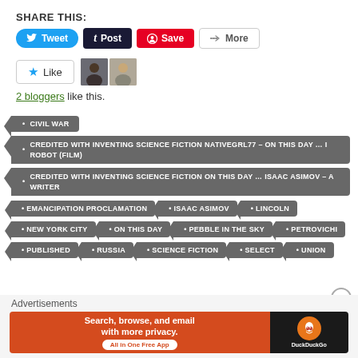SHARE THIS:
[Figure (screenshot): Social sharing buttons: Tweet (blue), Post (dark), Save (red/Pinterest), More (white/gray)]
[Figure (screenshot): Like button with star icon and two blogger avatars]
2 bloggers like this.
CIVIL WAR
CREDITED WITH INVENTING SCIENCE FICTION NATIVEGRL77 – ON THIS DAY … I ROBOT (FILM)
CREDITED WITH INVENTING SCIENCE FICTION ON THIS DAY … ISAAC ASIMOV – A WRITER
EMANCIPATION PROCLAMATION
ISAAC ASIMOV
LINCOLN
NEW YORK CITY
ON THIS DAY
PEBBLE IN THE SKY
PETROVICHI
PUBLISHED
RUSSIA
SCIENCE FICTION
SELECT
UNION
Advertisements
[Figure (screenshot): DuckDuckGo advertisement banner: Search, browse, and email with more privacy. All in One Free App]